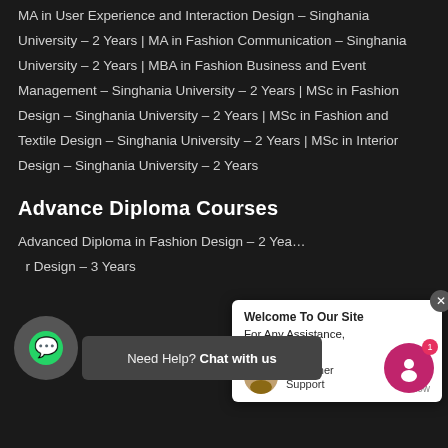MA in User Experience and Interaction Design – Singhania University – 2 Years | MA in Fashion Communication – Singhania University – 2 Years | MBA in Fashion Business and Event Management – Singhania University – 2 Years | MSc in Fashion Design – Singhania University – 2 Years | MSc in Fashion and Textile Design – Singhania University – 2 Years | MSc in Interior Design – Singhania University – 2 Years
Advance Diploma Courses
Advanced Diploma in Fashion Design – 2 Years | ... in Interior Design – 3 Years